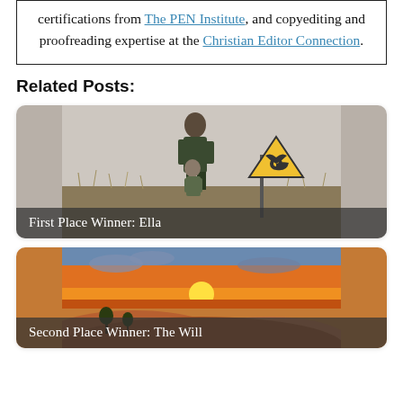certifications from The PEN Institute, and copyediting and proofreading expertise at the Christian Editor Connection.
Related Posts:
[Figure (photo): A man standing in a field holding a child, with a radioactive warning sign visible in the background. Caption overlay: 'First Place Winner: Ella']
[Figure (photo): Desert landscape at sunset with orange sky and sand dunes. Caption overlay: 'Second Place Winner: The Will']